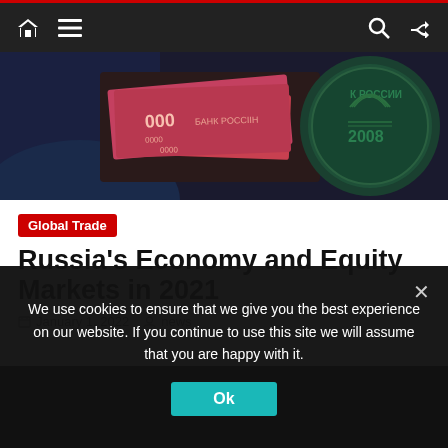Navigation bar with home, menu, search, and shuffle icons
[Figure (photo): Hero image showing Russian ruble banknotes and a coin with '2008' and 'РОССИЯ' text, held by a person in a dark suit jacket]
Global Trade
Russia's Economy and Equity Markets in 2021
January 1, 2022 · news
We use cookies to ensure that we give you the best experience on our website. If you continue to use this site we will assume that you are happy with it.